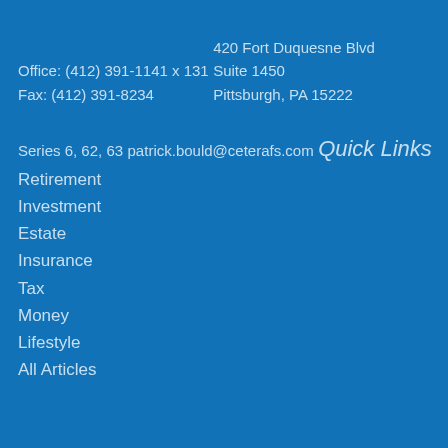Office:  (412) 391-1141 x 131
Fax:     (412) 391-8234
420 Fort Duquesne Blvd
Suite 1450
Pittsburgh, PA 15222
Series 6, 62, 63
patrick.bould@ceterafs.com
Quick Links
Retirement
Investment
Estate
Insurance
Tax
Money
Lifestyle
All Articles